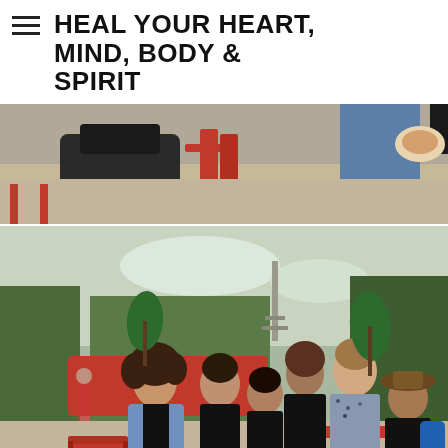HEAL YOUR HEART, MIND, BODY & SPIRIT
[Figure (photo): Partial photo showing people seated at outdoor red chairs/tables, bags visible, casual outdoor setting, cropped view]
[Figure (photo): Group photo of six people posing outdoors near the Eiffel Tower in Paris, with red chairs and green trees in background. People wearing casual clothes, one woman with curly hair in denim jacket on left, man in floral shirt in center-right, person in hat on far right.]